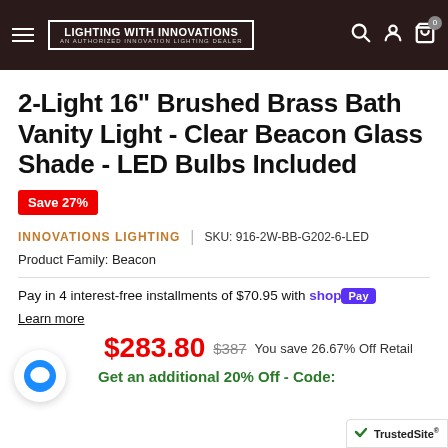LIGHTING WITH INNOVATIONS — AN AUTHORIZED INNOVATION LIGHTING DEALER
2-Light 16" Brushed Brass Bath Vanity Light - Clear Beacon Glass Shade - LED Bulbs Included
Save 27%
INNOVATIONS LIGHTING | SKU: 916-2W-BB-G202-6-LED
Product Family: Beacon
Pay in 4 interest-free installments of $70.95 with shop Pay
Learn more
$283.80  $387 You save 26.67% Off Retail
Get an additional 20% Off - Code: